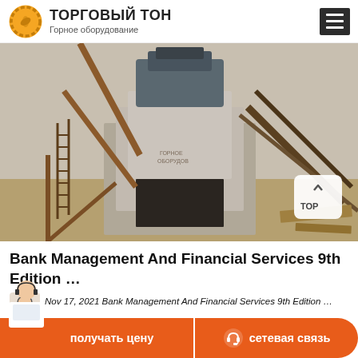ТОРГОВЫЙ ТОН — Горное оборудование
[Figure (photo): Industrial mining equipment / crusher installation on a construction site. Large concrete pedestal with metal framework and conveyor belts visible.]
Bank Management And Financial Services 9th Edition …
Nov 17, 2021 Bank Management And Financial Services 9th Edition …
[Figure (other): Bottom CTA bar: orange button 'получать цену' (get price) and orange rounded button 'сетевая связь' (network connection) with headset icon. Customer service avatar on left.]